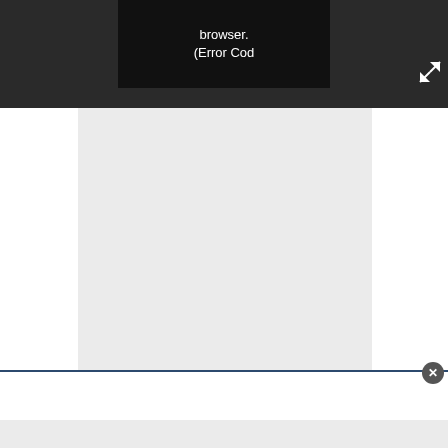[Figure (screenshot): Dark browser UI toolbar/header bar at the top of the page, approximately 108px tall, dark charcoal color (#2a2a2a)]
browser. (Error Cod
[Figure (screenshot): Expand/fullscreen arrow icon in the top right of the dark bar]
[Figure (screenshot): Light gray document page preview area in the center of the page]
[Figure (screenshot): White panel at bottom with a dark blue border at top and a circular close button (X) on the right side]
[Figure (screenshot): Light gray footer band at the very bottom of the page]